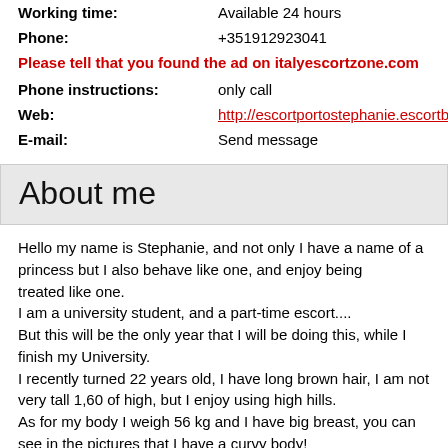Working time: Available 24 hours
Phone: +351912923041
Please tell that you found the ad on italyescortzone.com
Phone instructions: only call
Web: http://escortportostephanie.escortbook.com/
E-mail: Send message
About me
Hello my name is Stephanie, and not only I have a name of a princess but I also behave like one, and enjoy being treated like one.
I am a university student, and a part-time escort....
But this will be the only year that I will be doing this, while I finish my University.
I recently turned 22 years old, I have long brown hair, I am not very tall 1,60 of high, but I enjoy using high hills.
As for my body I weigh 56 kg and I have big breast, you can see in the pictures that I have a curvy body!
I have big and expressive brown eyes, and thick lips.
Forgive me for my photos, but I didn't use photoshop because I think it